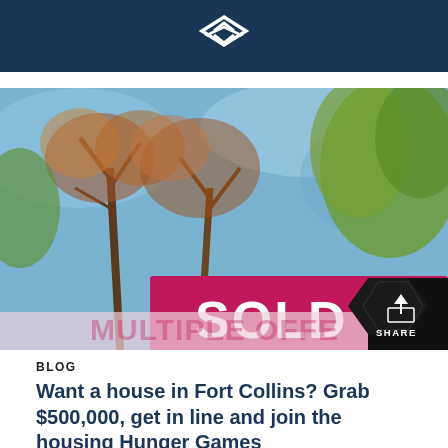[Figure (photo): Outdoor photo showing tree branches against a blue sky, with a magenta/red SOLD sign visible at the bottom, partially obscured. Text on sign reads 'SOLD' and partially 'MULTIPLE OFFER...' visible below.]
BLOG
Want a house in Fort Collins? Grab $500,000, get in line and join the housing Hunger Games
“Buying a house in Fort Collins these days